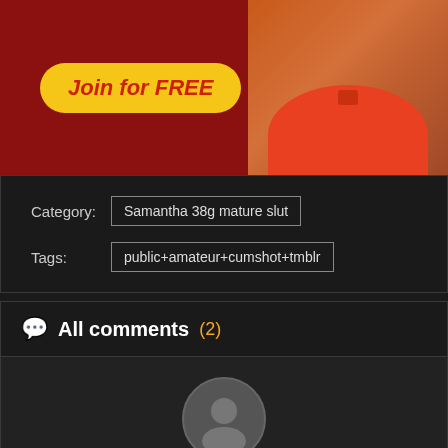[Figure (photo): Advertisement banner with red background, yellow 'Join for FREE' button and partial image of person in red bikini bottom]
Category: Samantha 38g mature slut
Tags: public+amateur+cumshot+tmblr
All comments (2)
[Figure (illustration): Generic user avatar — circular gray icon with silhouette of person]
Goshakar
3 years ago
I consider, what is it very interesting theme. Give with you we will communicate in PM.